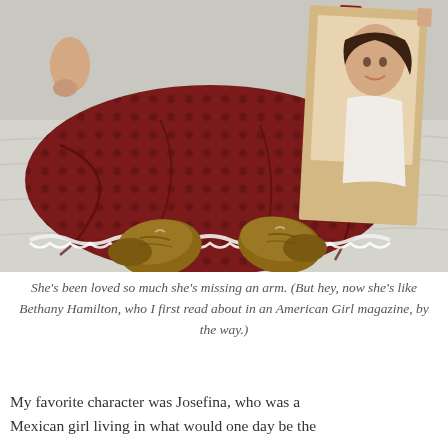[Figure (photo): A photograph of an American Girl doll wearing a dark red/maroon dress with a small floral or dot pattern and white lace trim at the hem, brown soft shoes/boots. The doll is missing one arm. It is propped against an American Girl book showing a smiling girl on the cover. The items rest on white/light gray fabric or bedding.]
She's been loved so much she's missing an arm. (But hey, now she's like Bethany Hamilton, who I first read about in an American Girl magazine, by the way.)
My favorite character was Josefina, who was a Mexican girl living in what would one day be the